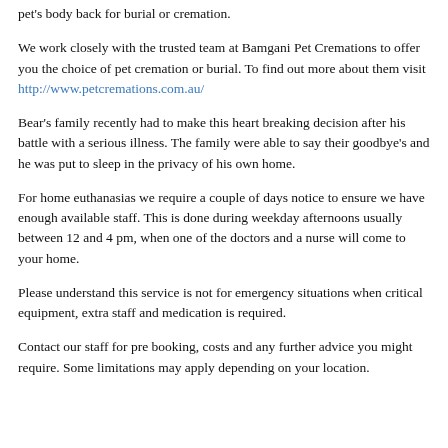pet's body back for burial or cremation.
We work closely with the trusted team at Bamgani Pet Cremations to offer you the choice of pet cremation or burial. To find out more about them visit http://www.petcremations.com.au/
Bear's family recently had to make this heart breaking decision after his battle with a serious illness. The family were able to say their goodbye's and he was put to sleep in the privacy of his own home.
For home euthanasias we require a couple of days notice to ensure we have enough available staff. This is done during weekday afternoons usually between 12 and 4 pm, when one of the doctors and a nurse will come to your home.
Please understand this service is not for emergency situations when critical equipment, extra staff and medication is required.
Contact our staff for pre booking, costs and any further advice you might require. Some limitations may apply depending on your location.